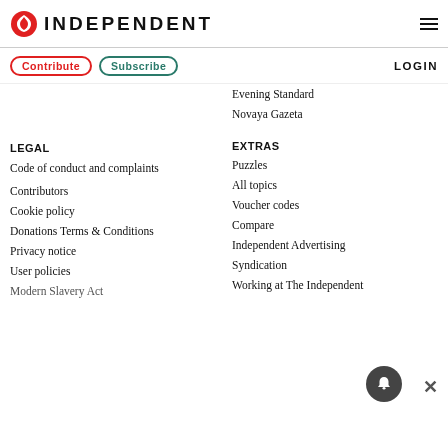INDEPENDENT
Contribute | Subscribe | LOGIN
Evening Standard
Novaya Gazeta
LEGAL
EXTRAS
Code of conduct and complaints
Puzzles
Contributors
All topics
Cookie policy
Voucher codes
Donations Terms & Conditions
Compare
Privacy notice
Independent Advertising
User policies
Syndication
Modern Slavery Act
Working at The Independent